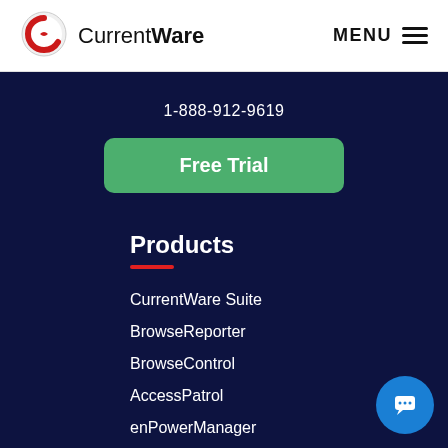[Figure (logo): CurrentWare logo with red circular icon and company name]
MENU
1-888-912-9619
Free Trial
Products
CurrentWare Suite
BrowseReporter
BrowseControl
AccessPatrol
enPowerManager